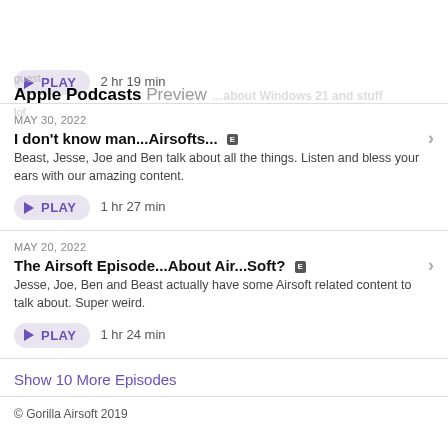Apple Podcasts Preview
2 hr 19 min
MAY 30, 2022
I don't know man...Airsofts...
Beast, Jesse, Joe and Ben talk about all the things. Listen and bless your ears with our amazing content.
1 hr 27 min
MAY 20, 2022
The Airsoft Episode...About Air...Soft?
Jesse, Joe, Ben and Beast actually have some Airsoft related content to talk about. Super weird.
1 hr 24 min
Show 10 More Episodes
© Gorilla Airsoft 2019